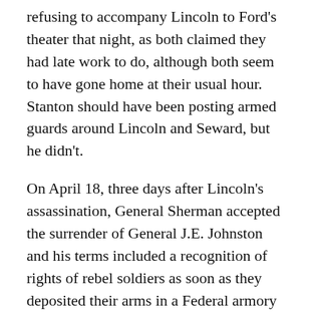refusing to accompany Lincoln to Ford's theater that night, as both claimed they had late work to do, although both seem to have gone home at their usual hour. Stanton should have been posting armed guards around Lincoln and Seward, but he didn't.
On April 18, three days after Lincoln's assassination, General Sherman accepted the surrender of General J.E. Johnston and his terms included a recognition of rights of rebel soldiers as soon as they deposited their arms in a Federal armory and signed the Union loyalty oath. In this matter, Sherman was following the wishes of the slain President. However, Stanton went into a rage when he learned of Sherman's terms of surrender, and immediately planted stories in Northern papers accusing Sherman of treason. When these papers arrived at Sherman's camp in North Carolina, his soldiers made a display of burning all copies. Anger among his rank and file was such that a